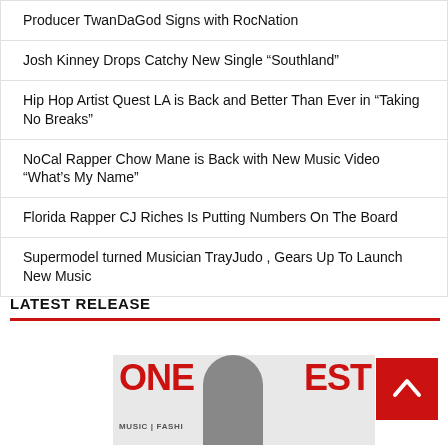Producer TwanDaGod Signs with RocNation
Josh Kinney Drops Catchy New Single “Southland”
Hip Hop Artist Quest LA is Back and Better Than Ever in “Taking No Breaks”
NoCal Rapper Chow Mane is Back with New Music Video “What’s My Name”
Florida Rapper CJ Riches Is Putting Numbers On The Board
Supermodel turned Musician TrayJudo , Gears Up To Launch New Music
LATEST RELEASE
[Figure (photo): OneFinest magazine cover with a person wearing a sparkly hat, large red text reading ONE and EST with MUSIC | FASHI below]